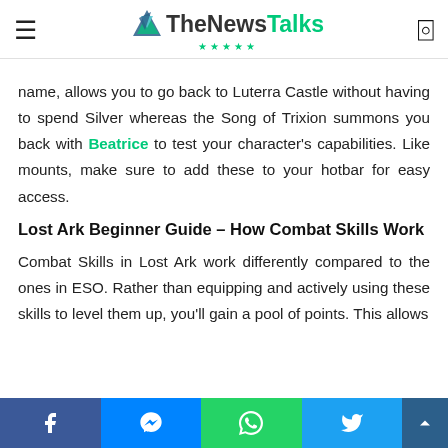TheNewsTalks
name, allows you to go back to Luterra Castle without having to spend Silver whereas the Song of Trixion summons you back with Beatrice to test your character's capabilities. Like mounts, make sure to add these to your hotbar for easy access.
Lost Ark Beginner Guide – How Combat Skills Work
Combat Skills in Lost Ark work differently compared to the ones in ESO. Rather than equipping and actively using these skills to level them up, you'll gain a pool of points. This allows
Facebook | Messenger | WhatsApp | Twitter | Scroll up